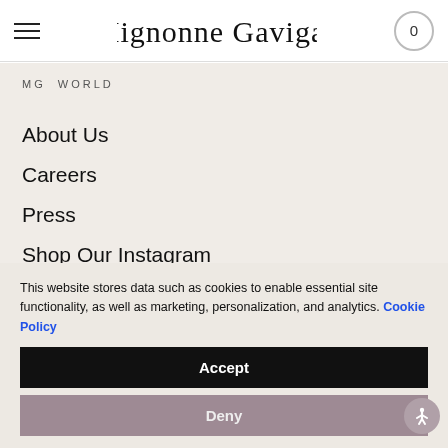Mignonne Gavigan — navigation header with hamburger menu and cart (0)
MG WORLD
About Us
Careers
Press
Shop Our Instagram
This website stores data such as cookies to enable essential site functionality, as well as marketing, personalization, and analytics. Cookie Policy
Accept
Deny